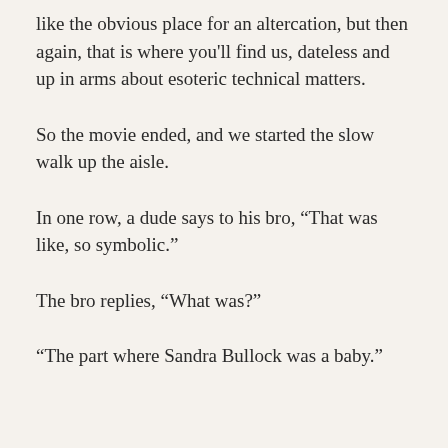like the obvious place for an altercation, but then again, that is where you'll find us, dateless and up in arms about esoteric technical matters.
So the movie ended, and we started the slow walk up the aisle.
In one row, a dude says to his bro, “That was like, so symbolic.”
The bro replies, “What was?”
“The part where Sandra Bullock was a baby.”